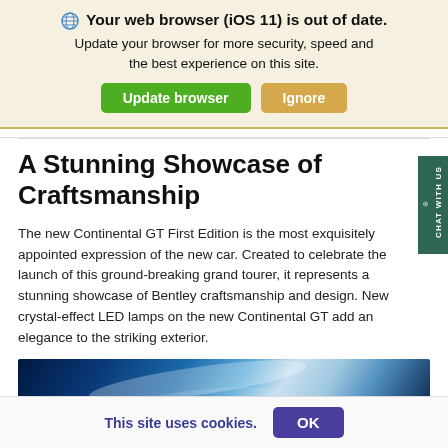🌐 Your web browser (iOS 11) is out of date. Update your browser for more security, speed and the best experience on this site.
Update browser | Ignore
A Stunning Showcase of Craftsmanship
The new Continental GT First Edition is the most exquisitely appointed expression of the new car. Created to celebrate the launch of this ground-breaking grand tourer, it represents a stunning showcase of Bentley craftsmanship and design. New crystal-effect LED lamps on the new Continental GT add an elegance to the striking exterior.
[Figure (photo): Partial view of a blue Bentley Continental GT showing abstract sweeping body lines and reflections]
This site uses cookies.  OK